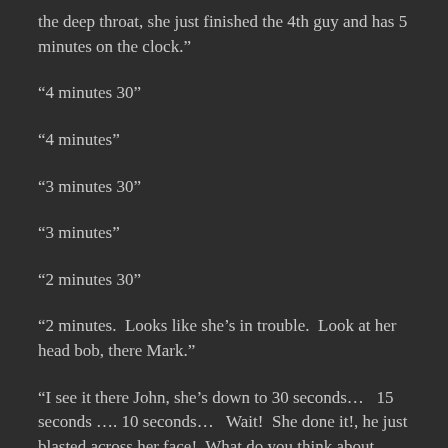the deep throat, she just finished the 4th guy and has 5 minutes on the clock.”
“4 minutes 30”
“4 minutes”
“3 minutes 30”
“3 minutes”
“2 minutes 30”
“2 minutes.  Looks like she’s in trouble.  Look at her head bob, there Mark.”
“I see it there John, she’s down to 30 seconds…   15 seconds …. 10 seconds…   Wait!  She done it!, he just blasted across her face!  What do you think about